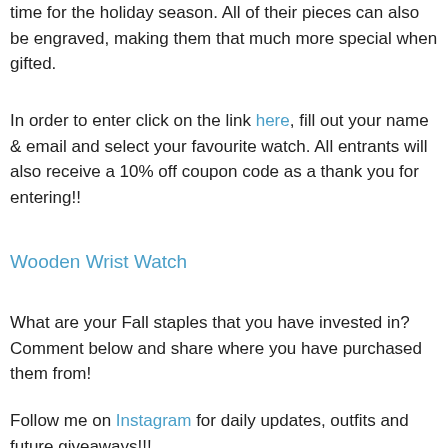time for the holiday season. All of their pieces can also be engraved, making them that much more special when gifted.
In order to enter click on the link here, fill out your name & email and select your favourite watch. All entrants will also receive a 10% off coupon code as a thank you for entering!!
Wooden Wrist Watch
What are your Fall staples that you have invested in? Comment below and share where you have purchased them from!
Follow me on Instagram for daily updates, outfits and future giveaways!!!